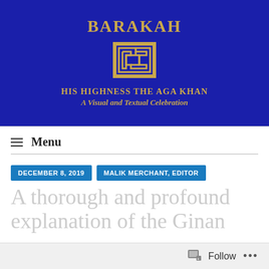[Figure (logo): BARAKAH website header banner — dark blue background with gold text 'BARAKAH', a decorative gold geometric logo/emblem, bold text 'HIS HIGHNESS THE AGA KHAN', and italic text 'A Visual and Textual Celebration']
≡ Menu
DECEMBER 8, 2019
MALIK MERCHANT, EDITOR
A thorough and profound explanation of the Ginan